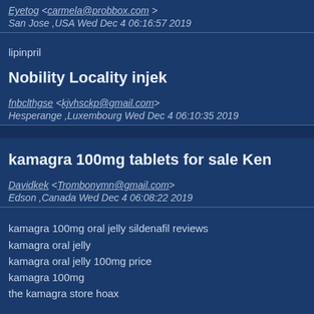Eyetog <carmela@probbox.com> San Jose ,USA Wed Dec 4 06:16:57 2019
lipinpril
Nobility Locality injek
fnbclthgse <kjvhsckp@gmail.com> Hesperange ,Luxembourg Wed Dec 4 06:10:35 2019
kamagra 100mg tablets for sale Ken
Davidkek <Trombonymn@gmail.com> Edson ,Canada Wed Dec 4 06:08:22 2019
kamagra 100mg oral jelly sildenafil reviews
kamagra oral jelly
kamagra oral jelly 100mg price
kamagra 100mg
the kamagra store hoax